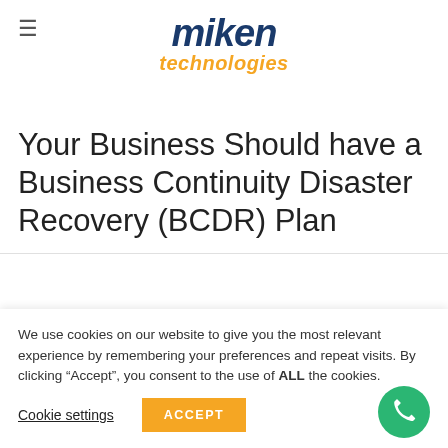miken technologies
Your Business Should have a Business Continuity Disaster Recovery (BCDR) Plan
We use cookies on our website to give you the most relevant experience by remembering your preferences and repeat visits. By clicking “Accept”, you consent to the use of ALL the cookies.
Cookie settings | ACCEPT